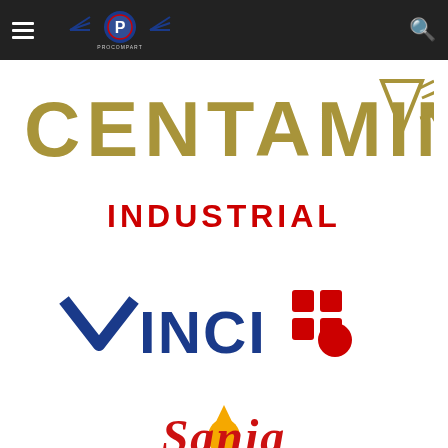Procompart navigation header with hamburger menu, logo, and search icon
[Figure (logo): Centamin logo in gold/olive color with stylized wing/arrow emblem on the right]
INDUSTRIAL
[Figure (logo): VINCI logo in dark blue bold text with red cross/plus symbol on the right]
[Figure (logo): Sania logo in red cursive text with yellow oil drop icon above]